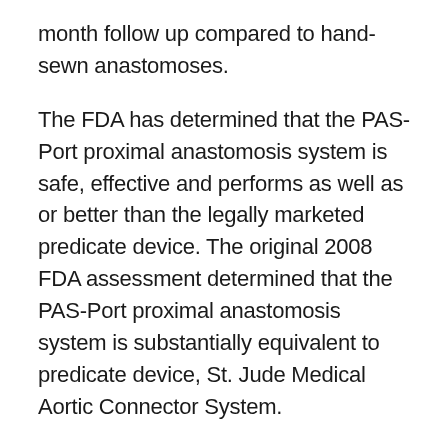month follow up compared to hand-sewn anastomoses.
The FDA has determined that the PAS-Port proximal anastomosis system is safe, effective and performs as well as or better than the legally marketed predicate device. The original 2008 FDA assessment determined that the PAS-Port proximal anastomosis system is substantially equivalent to predicate device, St. Jude Medical Aortic Connector System.
The PAS-Port proximal anastomosis system is